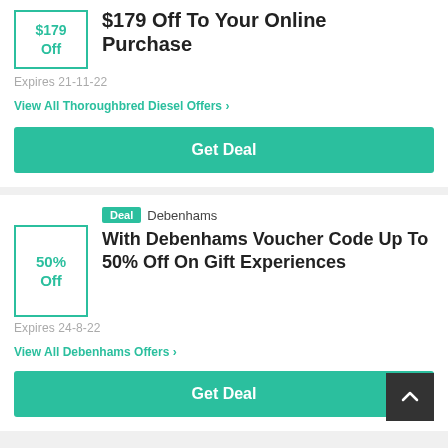[Figure (other): Voucher box showing '$179 Off' in teal text with teal border]
$179 Off To Your Online Purchase
Expires 21-11-22
View All Thoroughbred Diesel Offers ›
Get Deal
[Figure (other): Voucher box showing '50% Off' in teal text with teal border]
Deal  Debenhams
With Debenhams Voucher Code Up To 50% Off On Gift Experiences
Expires 24-8-22
View All Debenhams Offers ›
Get Deal